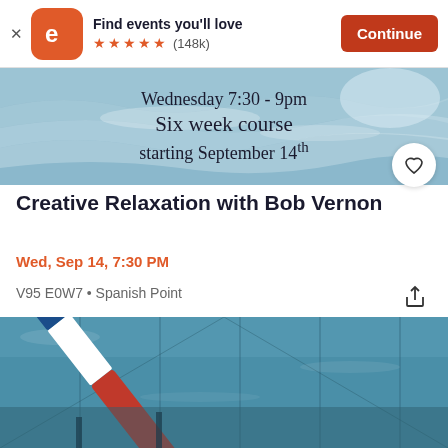[Figure (screenshot): Eventbrite app banner ad: orange rounded-square logo with 'e', text 'Find events you'll love', five orange stars, '(148k)' review count, and orange 'Continue' button]
[Figure (photo): Event promotional banner image showing ocean/water with serif text overlay: 'Wednesday 7:30 - 9pm / Six week course / starting September 14th']
Creative Relaxation with Bob Vernon
Wed, Sep 14, 7:30 PM
V95 E0W7 • Spanish Point
[Figure (photo): Swimming pool photo showing lane divider rope (red, white, and blue segments) in an indoor pool with blue water and lane lines visible]